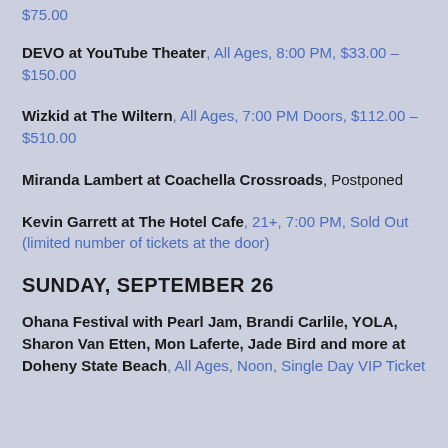$75.00
DEVO at YouTube Theater, All Ages, 8:00 PM, $33.00 – $150.00
Wizkid at The Wiltern, All Ages, 7:00 PM Doors, $112.00 – $510.00
Miranda Lambert at Coachella Crossroads, Postponed
Kevin Garrett at The Hotel Cafe, 21+, 7:00 PM, Sold Out (limited number of tickets at the door)
SUNDAY, SEPTEMBER 26
Ohana Festival with Pearl Jam, Brandi Carlile, YOLA, Sharon Van Etten, Mon Laferte, Jade Bird and more at Doheny State Beach, All Ages, Noon, Single Day VIP Ticket